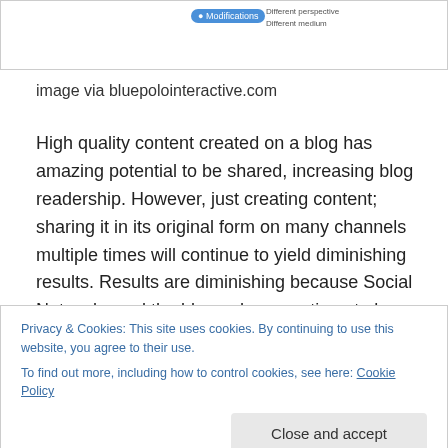[Figure (screenshot): Top portion of a diagram showing a 'Modifications' pill label in blue with 'Different perspective' and 'Different medium' text labels to the right]
image via bluepolointeractive.com
High quality content created on a blog has amazing potential to be shared, increasing blog readership. However, just creating content; sharing it in its original form on many channels multiple times will continue to yield diminishing results. Results are diminishing because Social Networks and the blog-sphere continue to be bombarded with content. As a result, too much quality
Privacy & Cookies: This site uses cookies. By continuing to use this website, you agree to their use.
To find out more, including how to control cookies, see here: Cookie Policy